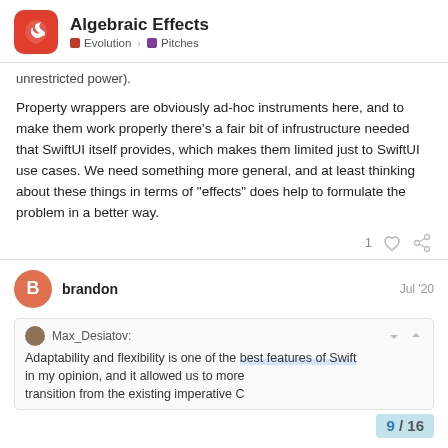Algebraic Effects — Evolution > Pitches
unrestricted power).
Property wrappers are obviously ad-hoc instruments here, and to make them work properly there's a fair bit of infrustructure needed that SwiftUI itself provides, which makes them limited just to SwiftUI use cases. We need something more general, and at least thinking about these things in terms of "effects" does help to formulate the problem in a better way.
1 ♡ 🔗
brandon  Jul '20
Max_Desiatov:
Adaptability and flexibility is one of the best features of Swift in my opinion, and it allowed us to more...
transition from the existing imperative C...
9 / 16